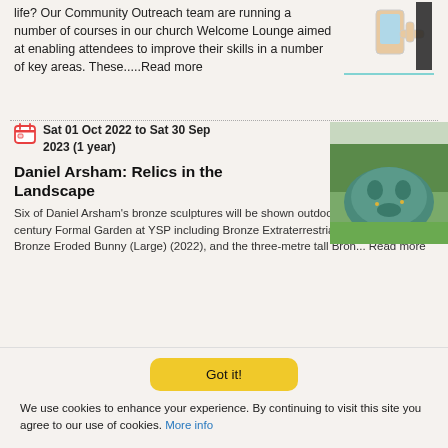life? Our Community Outreach team are running a number of courses in our church Welcome Lounge aimed at enabling attendees to improve their skills in a number of key areas. These.....Read more
[Figure (illustration): Illustration of hands holding a phone/tablet, with a horizontal line accent]
Sat 01 Oct 2022 to Sat 30 Sep 2023 (1 year)
Daniel Arsham: Relics in the Landscape
[Figure (photo): Outdoor photo of a large teal/bronze sculptural head lying on grass with trees in background]
Six of Daniel Arsham’s bronze sculptures will be shown outdoors in the 18th-century Formal Garden at YSP including Bronze Extraterrestrial Bicycle (2022), Bronze Eroded Bunny (Large) (2022), and the three-metre tall Bron... Read more
Got it!
We use cookies to enhance your experience. By continuing to visit this site you agree to our use of cookies. More info